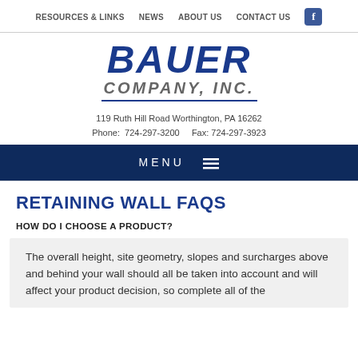RESOURCES & LINKS  NEWS  ABOUT US  CONTACT US
[Figure (logo): Bauer Company, Inc. logo with bold italic blue BAUER text and gray italic COMPANY, INC. text below, with a horizontal blue underline]
119 Ruth Hill Road Worthington, PA 16262
Phone:  724-297-3200    Fax:  724-297-3923
MENU ≡
RETAINING WALL FAQS
HOW DO I CHOOSE A PRODUCT?
The overall height, site geometry, slopes and surcharges above and behind your wall should all be taken into account and will affect your product decision, so complete all of the